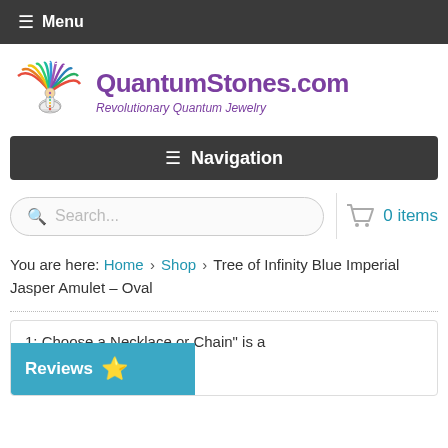☰ Menu
[Figure (logo): QuantumStones.com logo with meditating figure and colorful aura. Text: QuantumStones.com – Revolutionary Quantum Jewelry]
☰ Navigation
Search...   🛒 0 items
You are here: Home › Shop › Tree of Infinity Blue Imperial Jasper Amulet – Oval
1: Choose a Necklace or Chain" is a ed field.
Reviews ⭐